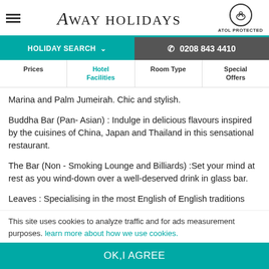Away Holidays — ATOL PROTECTED
HOLIDAY SEARCH ∨ | ✆ 0208 843 4410
Prices | Hotel Facilities | Room Type | Special Offers
Marina and Palm Jumeirah. Chic and stylish.
Buddha Bar (Pan- Asian) : Indulge in delicious flavours inspired by the cuisines of China, Japan and Thailand in this sensational restaurant.
The Bar (Non - Smoking Lounge and Billiards) :Set your mind at rest as you wind-down over a well-deserved drink in glass bar.
Leaves : Specialising in the most English of English traditions
This site uses cookies to analyze traffic and for ads measurement purposes. learn more about how we use cookies.
OK,I AGREE